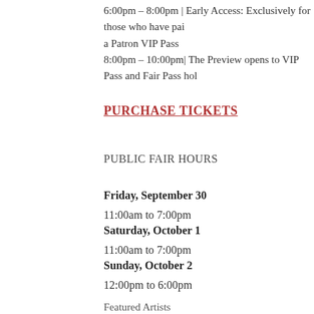6:00pm – 8:00pm | Early Access: Exclusively for those who have paid a Patron VIP Pass
8:00pm – 10:00pm| The Preview opens to VIP Pass and Fair Pass hol
PURCHASE TICKETS
PUBLIC FAIR HOURS
Friday, September 30
11:00am to 7:00pm
Saturday, October 1
11:00am to 7:00pm
Sunday, October 2
12:00pm to 6:00pm
Featured Artists
Maya Freelon Asante, Osi Audu,Victor Ekpuk, Nate Lewis, Julia Vonn Sumner & Charles Williams
Tags: 2016, Charles Williams, dc, Houston, julia fernandez pol, Maya morton fine art, Nate Lewis, Osi Audu, Texas Contemporary, Victor E